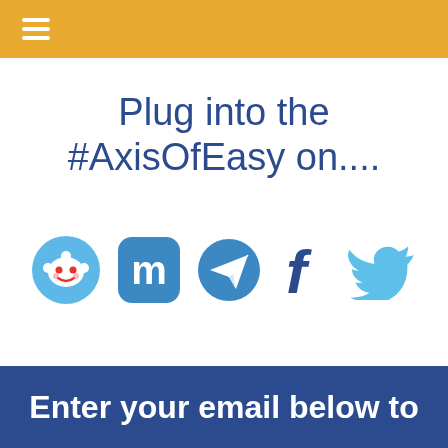☰ (hamburger menu)
Plug into the #AxisOfEasy on....
[Figure (illustration): Row of five social media icons: Reddit (alien on light blue circle), Mastodon (M on blue rounded square), Telegram (paper plane on blue), Facebook (f in dark blue), Twitter (bird in light blue)]
Enter your email below to